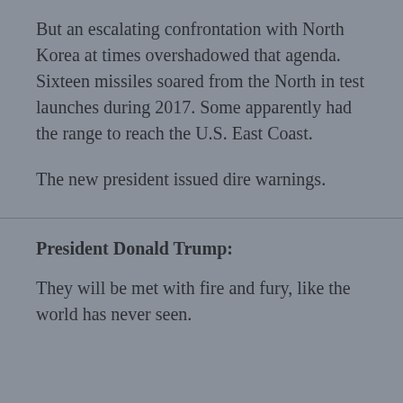But an escalating confrontation with North Korea at times overshadowed that agenda. Sixteen missiles soared from the North in test launches during 2017. Some apparently had the range to reach the U.S. East Coast.
The new president issued dire warnings.
President Donald Trump:
They will be met with fire and fury, like the world has never seen.